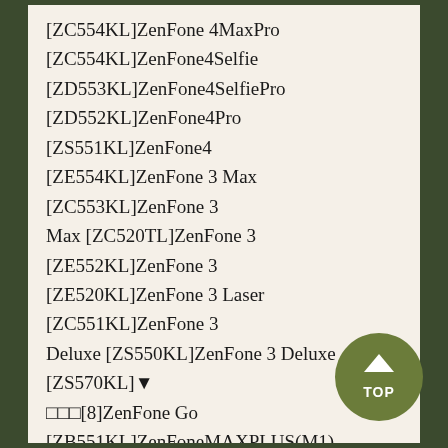[ZC554KL]ZenFone 4MaxPro [ZC554KL]ZenFone4Selfie [ZD553KL]ZenFone4SelfiePro [ZD552KL]ZenFone4Pro [ZS551KL]ZenFone4 [ZE554KL]ZenFone 3 Max [ZC553KL]ZenFone 3 Max [ZC520TL]ZenFone 3 [ZE552KL]ZenFone 3 [ZE520KL]ZenFone 3 Laser [ZC551KL]ZenFone 3 Deluxe [ZS550KL]ZenFone 3 Deluxe [ZS570KL]▼□□□[8]ZenFone Go [ZB551KL]ZenFoneMAXPLUS(M1) [ZB570TL]ZenFoneMax(M1) [ZB555KL]ZenFone Max [ZC550KL]ZenFone Selfie [ZD551KL]ZenFone 2 [ZE551ML]ZenFone2 Laser [ZE601KL]□□□□□□□□□□ZenFone2 Laser [ZE600□□□□□□ZenFone 2 Laser [ZE500KL]ZET MONO [MO-01J]ZTE Blade [V7Max]ZTE Blade